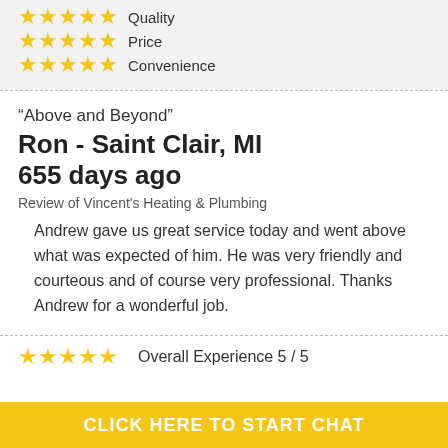Quality — 5/5 stars
Price — 5/5 stars
Convenience — 5/5 stars
“Above and Beyond”
Ron - Saint Clair, MI
655 days ago
Review of Vincent's Heating & Plumbing
Andrew gave us great service today and went above what was expected of him. He was very friendly and courteous and of course very professional. Thanks Andrew for a wonderful job.
Overall Experience 5 / 5
CLICK HERE TO START CHAT